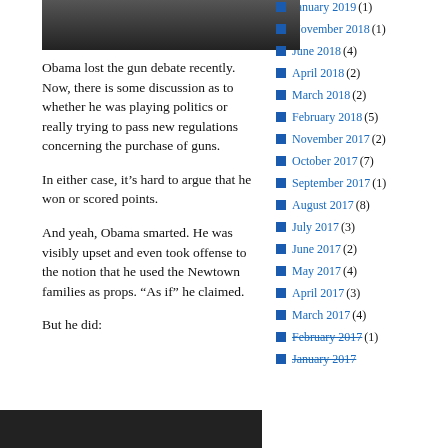[Figure (photo): Partial photo of a person, dark/cropped at top of main column]
Obama lost the gun debate recently.  Now, there is some discussion as to whether he was playing politics or really trying to pass new regulations concerning the purchase of guns.
In either case, it’s hard to argue that he won or scored points.
And yeah, Obama smarted.  He was visibly upset and even took offense to the notion that he used the Newtown families as props.  “As if” he claimed.
But he did:
January 2019 (1)
November 2018 (1)
June 2018 (4)
April 2018 (2)
March 2018 (2)
February 2018 (5)
November 2017 (2)
October 2017 (7)
September 2017 (1)
August 2017 (8)
July 2017 (3)
June 2017 (2)
May 2017 (4)
April 2017 (3)
March 2017 (4)
February 2017 (1)
January 2017
[Figure (photo): Dark image at bottom of main column, partially visible]